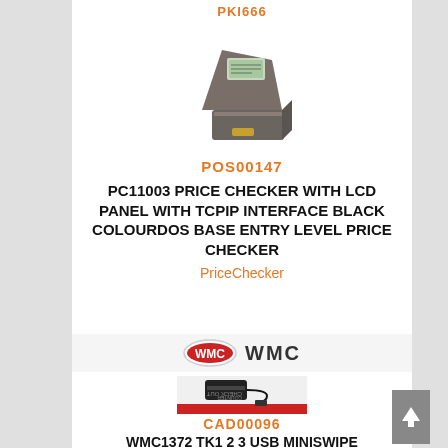PKI666
[Figure (photo): Photo of a PC11003 price checker device with LCD panel, dark brown/grey color]
POS00147
PC11003 PRICE CHECKER WITH LCD PANEL WITH TCPIP INTERFACE BLACK COLOURDOS BASE ENTRY LEVEL PRICE CHECKER
PriceChecker
[Figure (logo): WMC brand logo - oval shaped logo with WMC text in red, followed by WMC text in dark color]
[Figure (photo): Photo of WMC1372 TK1 2 3 USB Miniswipe device, a card reader with cable]
CAD00096
WMC1372 TK1 2 3 USB MINISWIPE